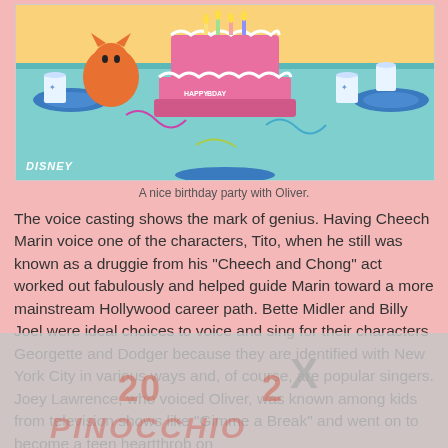[Figure (illustration): Disney-labeled illustration of a birthday party scene with a pink layered cake, cups, plates, and an orange cartoon cat character on a teal table with yellow background. DISNEY label in bottom left.]
A nice birthday party with Oliver.
The voice casting shows the mark of genius. Having Cheech Marin voice one of the characters, Tito, when he still was known as a druggie from his "Cheech and Chong" act worked out fabulously and helped guide Marin toward a more mainstream Hollywood career path. Bette Midler and Billy Joel were ideal choices to voice and sing for their characters Georgette and Dodger because they are identified with New York City in various ways and, of course, are popular singers. Joey Lawrence, who voiced Oliver, was known among kids from television shows like "Gimme a Break" and went on to become a teen heartthrob on
[Figure (other): Partially obscured overlay with greyed-out background image, a large X mark, text reading '2002' and 'PINOCCHIO' in faded red/pink italic font.]